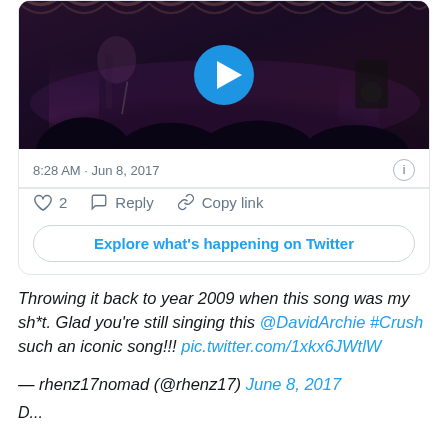[Figure (screenshot): Twitter/X embedded tweet card showing a video thumbnail of a concert stage with a play button overlay, timestamp 8:28 AM · Jun 8, 2017, like count of 2, Reply and Copy link actions, and an Explore button]
Throwing it back to year 2009 when this song was my sh*t. Glad you're still singing this @DavidArchie #Crush such an iconic song!!! pic.twitter.com/1xkx6JWtlW
— rhenz17nomad (@rhenz17) June 8, 2017
Describing the tweet...